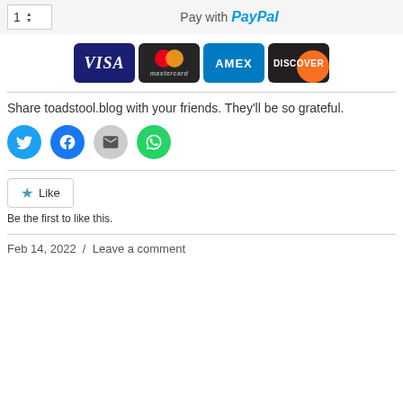[Figure (screenshot): PayPal payment widget with quantity spinner showing '1', text 'Pay with PayPal', and credit card logos for Visa, Mastercard, Amex, Discover]
Share toadstool.blog with your friends. They'll be so grateful.
[Figure (infographic): Social sharing buttons: Twitter (blue circle), Facebook (blue circle), Email (grey circle), WhatsApp (green circle)]
[Figure (infographic): Like button with star icon and text 'Like']
Be the first to like this.
Feb 14, 2022  /  Leave a comment